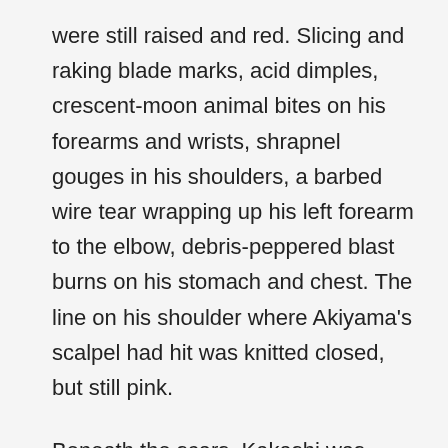were still raised and red. Slicing and raking blade marks, acid dimples, crescent-moon animal bites on his forearms and wrists, shrapnel gouges in his shoulders, a barbed wire tear wrapping up his left forearm to the elbow, debris-peppered blast burns on his stomach and chest. The line on his shoulder where Akiyama's scalpel had hit was knitted closed, but still pink.
Beneath the scars, Kakashi was muscled lean and spare, all glass-cut planes and angles. Veins knotted under the thin skin up his forearms. The hard lines of his stomach muscles were